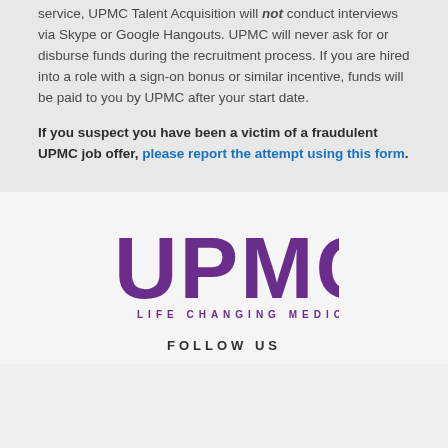service, UPMC Talent Acquisition will not conduct interviews via Skype or Google Hangouts. UPMC will never ask for or disburse funds during the recruitment process. If you are hired into a role with a sign-on bonus or similar incentive, funds will be paid to you by UPMC after your start date.
If you suspect you have been a victim of a fraudulent UPMC job offer, please report the attempt using this form.
[Figure (logo): UPMC logo with text UPMC in large purple letters and tagline LIFE CHANGING MEDICINE below]
FOLLOW US